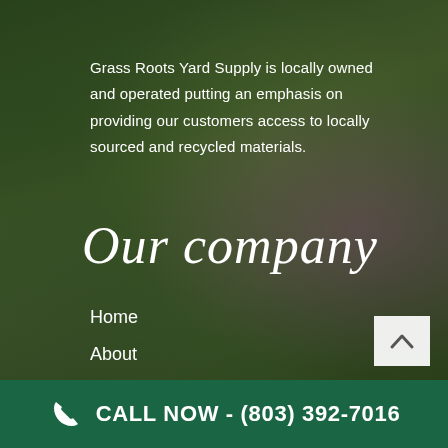[Figure (photo): Blurred garden background with green foliage and purple flower, overlaid with dark semi-transparent layer]
Grass Roots Yard Supply is locally owned and operated putting an emphasis on providing our customers access to locally sourced and recycled materials.
Our company
Home
About
Contact
Products
CALL NOW - (803) 392-7016